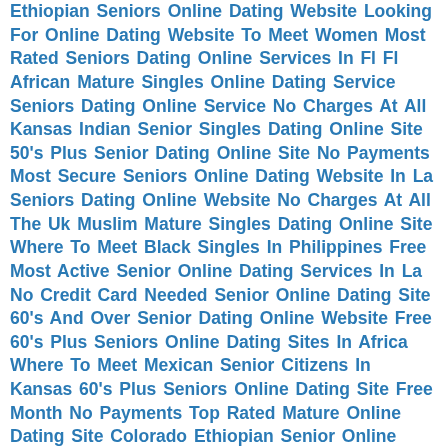Ethiopian Seniors Online Dating Website Looking For Online Dating Website To Meet Women Most Rated Seniors Dating Online Services In Fl Fl African Mature Singles Online Dating Service Seniors Dating Online Service No Charges At All Kansas Indian Senior Singles Dating Online Site 50's Plus Senior Dating Online Site No Payments Most Secure Seniors Online Dating Website In La Seniors Dating Online Website No Charges At All The Uk Muslim Mature Singles Dating Online Site Where To Meet Black Singles In Philippines Free Most Active Senior Online Dating Services In La No Credit Card Needed Senior Online Dating Site 60's And Over Senior Dating Online Website Free 60's Plus Seniors Online Dating Sites In Africa Where To Meet Mexican Senior Citizens In Kansas 60's Plus Seniors Online Dating Site Free Month No Payments Top Rated Mature Online Dating Site Colorado Ethiopian Senior Online Dating Website Where To Meet Ukrainian Seniors In Toronto Free No Payments Cheapest Senior Online Dating Sites Looking For Mature Senior Citizens In Vancouver Phoenix